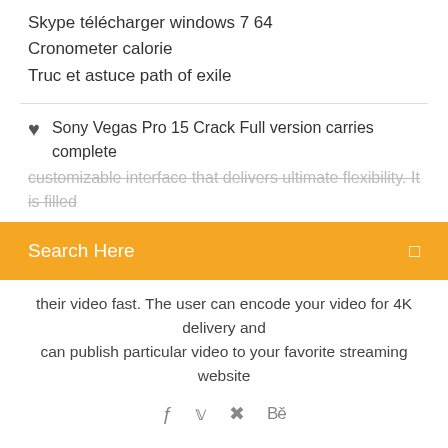Skype télécharger windows 7 64
Cronometer calorie
Truc et astuce path of exile
Sony Vegas Pro 15 Crack Full version carries complete
customizable interface that delivers ultimate flexibility. It is filled
Search Here
their video fast. The user can encode your video for 4K delivery and can publish particular video to your favorite streaming website
21/03/2020 · Sony Vegas Pro 17 Crack Build 421 Full Download is an outstanding software designed for professionals. This application comes with powerful features for video production, audio editing, and disc